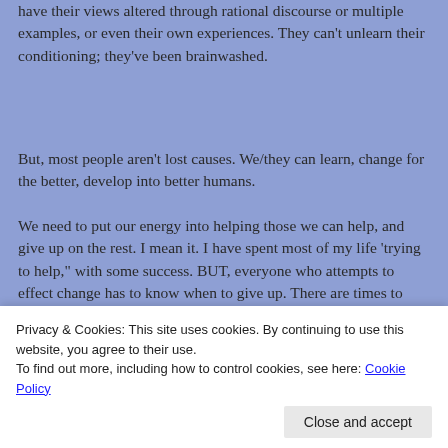have their views altered through rational discourse or multiple examples, or even their own experiences. They can't unlearn their conditioning; they've been brainwashed.
But, most people aren't lost causes. We/they can learn, change for the better, develop into better humans.
We need to put our energy into helping those we can help, and give up on the rest. I mean it. I have spent most of my life 'trying to help," with some success. BUT, everyone who attempts to effect change has to know when to give up. There are times to surrender.
************************************
If you already know about the ADL (Anti-Defamation League), good. If not,
and passion. ADL is a global leader in exposing extremism and delivering
Privacy & Cookies: This site uses cookies. By continuing to use this website, you agree to their use.
To find out more, including how to control cookies, see here: Cookie Policy